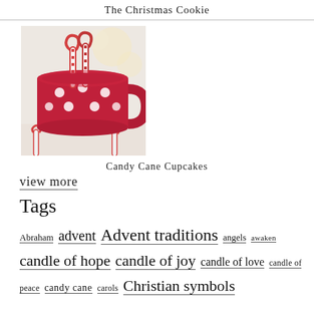The Christmas Cookie
[Figure (photo): A red polka-dot mug with candy canes inside, sitting on a table with candy canes in front]
Candy Cane Cupcakes
view more
Tags
Abraham advent Advent traditions angels awaken candle of hope candle of joy candle of love candle of peace candy cane carols Christian symbols